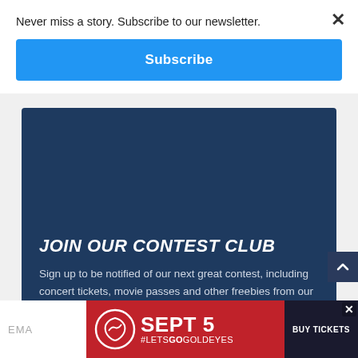Never miss a story. Subscribe to our newsletter.
Subscribe
JOIN OUR CONTEST CLUB
Sign up to be notified of our next great contest, including concert tickets, movie passes and other freebies from our promotional partners!
[Figure (screenshot): Advertisement banner: SEPT 5 #LETSGOGOLDEYES with BUY TICKETS button and red background]
×